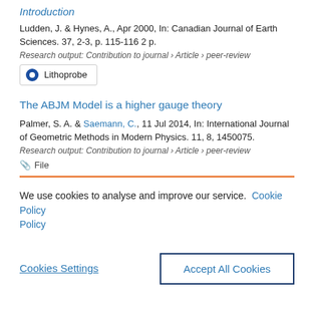Introduction
Ludden, J. & Hynes, A., Apr 2000, In: Canadian Journal of Earth Sciences. 37, 2-3, p. 115-116 2 p.
Research output: Contribution to journal › Article › peer-review
Lithoprobe
The ABJM Model is a higher gauge theory
Palmer, S. A. & Saemann, C., 11 Jul 2014, In: International Journal of Geometric Methods in Modern Physics. 11, 8, 1450075.
Research output: Contribution to journal › Article › peer-review
File
We use cookies to analyse and improve our service. Cookie Policy
Cookies Settings
Accept All Cookies